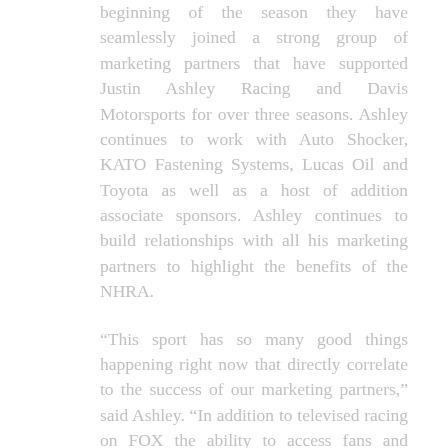beginning of the season they have seamlessly joined a strong group of marketing partners that have supported Justin Ashley Racing and Davis Motorsports for over three seasons. Ashley continues to work with Auto Shocker, KATO Fastening Systems, Lucas Oil and Toyota as well as a host of addition associate sponsors. Ashley continues to build relationships with all his marketing partners to highlight the benefits of the NHRA.
“This sport has so many good things happening right now that directly correlate to the success of our marketing partners,” said Ashley. “In addition to televised racing on FOX the ability to access fans and develop B2B relationships is invaluable. Phillips Connect and many of our partners have done an amazing job of using this NHRA platform and we will have more exciting announcements later this summer.”
The first round of qualifying for the New